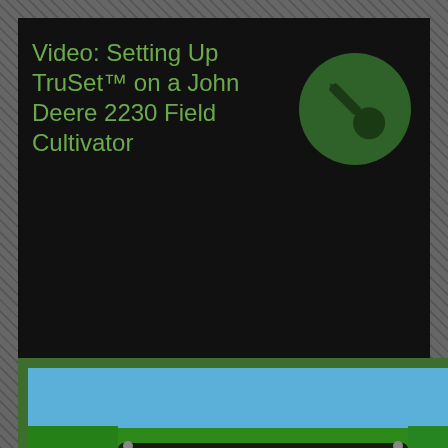Video: Setting Up TruSet™ on a John Deere 2230 Field Cultivator
[Figure (logo): Green circle with dark pushpin/thumbtack icon]
[Figure (photo): Close-up of John Deere green equipment showing TruSet Tillage display panel]
How to set up TruSet Tillage on your Display
by Jake Pippin, Assumption, IL
In this video, tillage specialist Jake Pippin
APRIL 14, 2018
SLOANIMPLEMENT
JAKE PIPPIN
2230, 2330, 2510H, 2620, 2630, 2632VT, 2633VT, 2720, 2730, DISK RIPPER, FIELD CULTIVATOR, MULCH FINISHER, TRU SET, TRUSET, VERTICAL TILLAGE